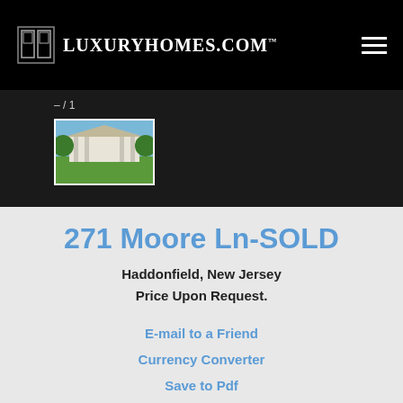LuxuryHomes.com™
[Figure (photo): Thumbnail photo of a luxury home with green lawn and columns, gallery image 1 of 1]
271 Moore Ln-SOLD
Haddonfield, New Jersey
Price Upon Request.
E-mail to a Friend
Currency Converter
Save to Pdf
Send an Inquiry